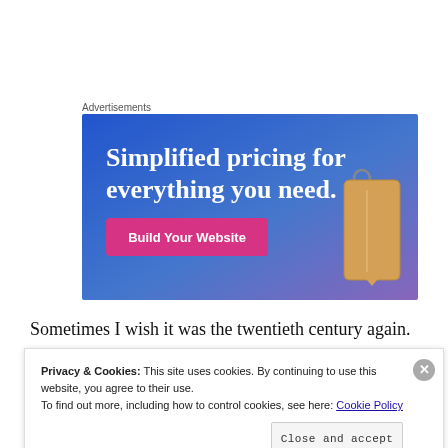Advertisements
[Figure (illustration): Advertisement banner with gradient blue-purple background showing text 'Simplified pricing for everything you need.' with a pink 'Build Your Website' button and a price tag image on the right.]
Sometimes I wish it was the twentieth century again.
Privacy & Cookies: This site uses cookies. By continuing to use this website, you agree to their use.
To find out more, including how to control cookies, see here: Cookie Policy
Close and accept
[Figure (screenshot): Bottom strip showing orange and dark background with DuckDuckGo text]